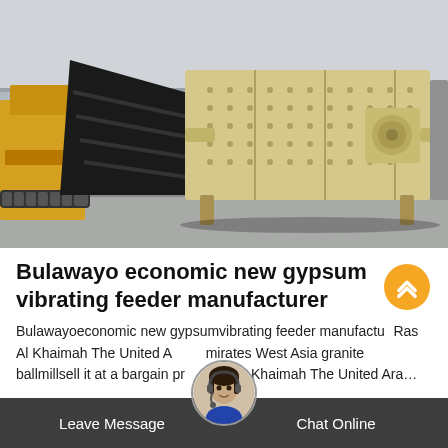[Figure (photo): Industrial vibrating feeder machine (cream/beige colored rectangular unit with bolted plates and motor) photographed in a warehouse/factory setting alongside yellow construction equipment]
Bulawayo economic new gypsum vibrating feeder manufacturer
Bulawayoeconomic new gypsumvibrating feeder manufacturer Ras Al Khaimah The United A... mirates West Asia granite ballmillsell it at a bargain pr... Khaimah The United Ara...
Leave Message   Chat Online